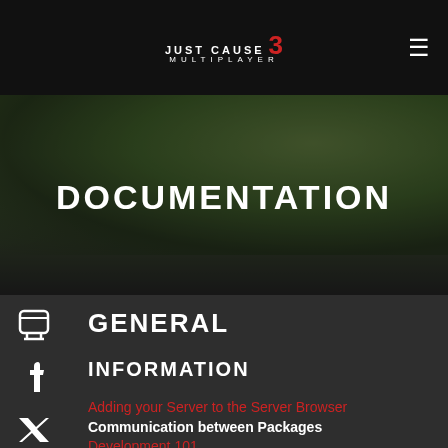Just Cause 3 Multiplayer — Navigation bar with hamburger menu
DOCUMENTATION
GENERAL
INFORMATION
Adding your Server to the Server Browser
Communication between Packages
Development 101
FAQ
Linux Server Setup